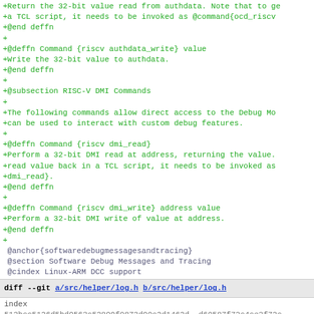+Return the 32-bit value read from authdata. Note that to ge
+a TCL script, it needs to be invoked as @command{ocd_riscv
+@end deffn
+
+@deffn Command {riscv authdata_write} value
+Write the 32-bit value to authdata.
+@end deffn
+
+@subsection RISC-V DMI Commands
+
+The following commands allow direct access to the Debug Mo
+can be used to interact with custom debug features.
+
+@deffn Command {riscv dmi_read}
+Perform a 32-bit DMI read at address, returning the value.
+read value back in a TCL script, it needs to be invoked as
+dmi_read}.
+@end deffn
+
+@deffn Command {riscv dmi_write} address value
+Perform a 32-bit DMI write of value at address.
+@end deffn
+
 @anchor{softwaredebugmessagesandtracing}
 @section Software Debug Messages and Tracing
 @cindex Linux-ARM DCC support
diff --git a/src/helper/log.h b/src/helper/log.h
index
512bcc5126d5bd9563c52899f0873d90c2d1462d..d60587f72c4ce3f72c
100644 (file)
--- a/src/helper/log.h